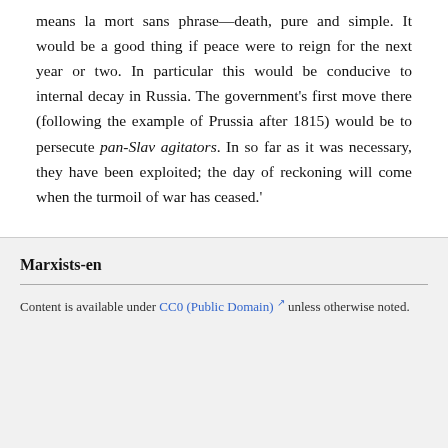means la mort sans phrase—death, pure and simple. It would be a good thing if peace were to reign for the next year or two. In particular this would be conducive to internal decay in Russia. The government's first move there (following the example of Prussia after 1815) would be to persecute pan-Slav agitators. In so far as it was necessary, they have been exploited; the day of reckoning will come when the turmoil of war has ceased.'
Marxists-en
Content is available under CC0 (Public Domain) unless otherwise noted.